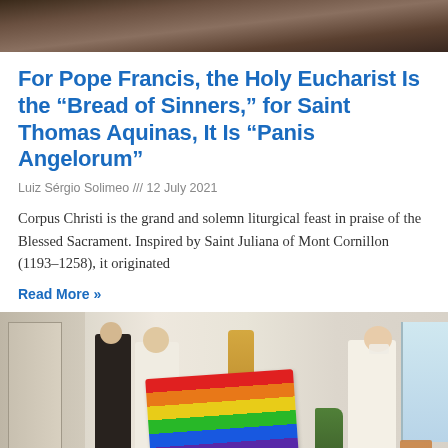[Figure (photo): Top portion of a church interior photo, partially cropped]
For Pope Francis, the Holy Eucharist Is the “Bread of Sinners,” for Saint Thomas Aquinas, It Is “Panis Angelorum”
Luiz Sérgio Solimeo /// 12 July 2021
Corpus Christi is the grand and solemn liturgical feast in praise of the Blessed Sacrament. Inspired by Saint Juliana of Mont Cornillon (1193–1258), it originated
Read More »
[Figure (photo): People in white liturgical robes holding a rainbow-colored stole/banner in a church interior, with a golden statue in background]